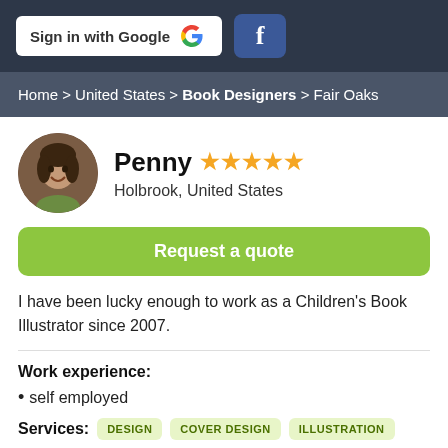[Figure (screenshot): Sign in with Google button and Facebook login button on dark background]
Home > United States > Book Designers > Fair Oaks
[Figure (photo): Circular profile photo of Penny, a woman smiling]
Penny ★★★★★
Holbrook, United States
Request a quote
I have been lucky enough to work as a Children's Book Illustrator since 2007.
Work experience:
self employed
Services: DESIGN  COVER DESIGN  ILLUSTRATION